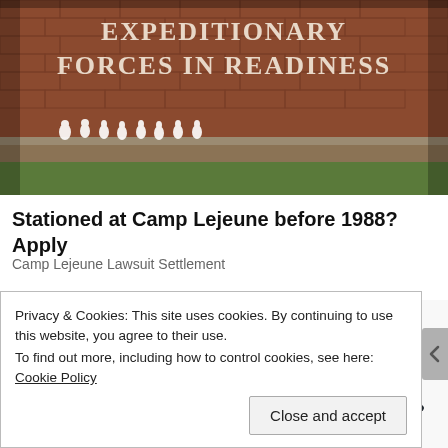[Figure (photo): Brick wall with white text reading EXPEDITIONARY FORCES IN READINESS, with small memorial flowers and figurines arranged at the base of the wall]
Stationed at Camp Lejeune before 1988? Apply
Camp Lejeune Lawsuit Settlement
[Figure (photo): Illustration or caricature of an elderly man with white hair wearing a dark cowboy hat, partially visible]
Privacy & Cookies: This site uses cookies. By continuing to use this website, you agree to their use.
To find out more, including how to control cookies, see here: Cookie Policy
Close and accept